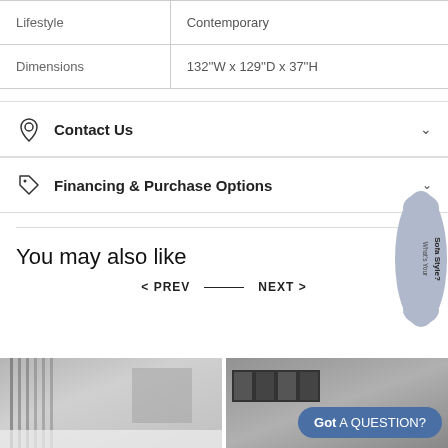| Lifestyle | Contemporary |
| Dimensions | 132''W x 129''D x 37''H |
Contact Us
Financing & Purchase Options
You may also like
< PREV — NEXT >
[Figure (photo): Two room/product photos side by side at the bottom of the page]
[Figure (infographic): Sofa Style badge on the right side]
Got A QUESTION?